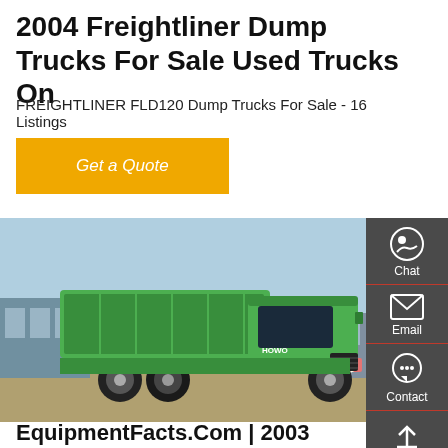2004 Freightliner Dump Trucks For Sale Used Trucks On
FREIGHTLINER FLD120 Dump Trucks For Sale - 16 Listings
Get a Quote
[Figure (photo): Green Sinotruk HOWO dump truck parked outdoors in front of industrial buildings under a blue sky.]
EquipmentFacts.Com | 2003